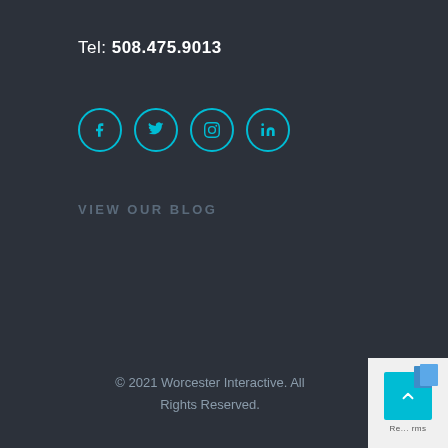Tel: 508.475.9013
[Figure (infographic): Four circular social media icons with cyan/teal border: Facebook (f), Twitter (bird), Instagram (camera), LinkedIn (in)]
VIEW OUR BLOG
© 2021 Worcester Interactive. All Rights Reserved.